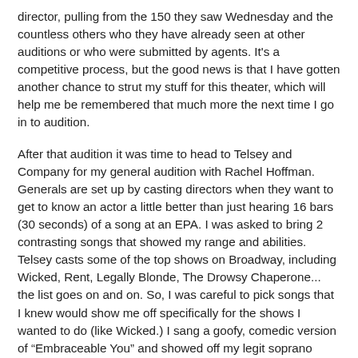director, pulling from the 150 they saw Wednesday and the countless others who they have already seen at other auditions or who were submitted by agents. It's a competitive process, but the good news is that I have gotten another chance to strut my stuff for this theater, which will help me be remembered that much more the next time I go in to audition.
After that audition it was time to head to Telsey and Company for my general audition with Rachel Hoffman. Generals are set up by casting directors when they want to get to know an actor a little better than just hearing 16 bars (30 seconds) of a song at an EPA. I was asked to bring 2 contrasting songs that showed my range and abilities. Telsey casts some of the top shows on Broadway, including Wicked, Rent, Legally Blonde, The Drowsy Chaperone... the list goes on and on. So, I was careful to pick songs that I knew would show me off specifically for the shows I wanted to do (like Wicked.) I sang a goofy, comedic version of “Embraceable You” and showed off my legit soprano (when I finished, the casting director laughed and said, “Good for you, Erin. Good for you!” - click to see my cabaret version of this song.) I then